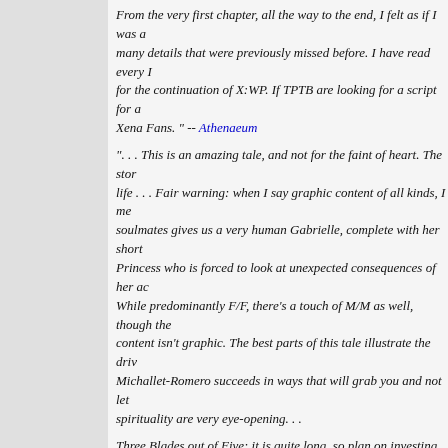From the very first chapter, all the way to the end, I felt as if I was a... many details that were previously missed before. I have read every I... for the continuation of X:WP. If TPTB are looking for a script for a... Xena Fans. " -- Athenaeum
". . . This is an amazing tale, and not for the faint of heart. The story... life . . . Fair warning: when I say graphic content of all kinds, I me... soulmates gives us a very human Gabrielle, complete with her short... Princess who is forced to look at unexpected consequences of her ac... While predominantly F/F, there's a touch of M/M as well, though the... content isn't graphic. The best parts of this tale illustrate the driv... Michallet-Romero succeeds in ways that will grab you and not let... spirituality are very eye-opening. . .
Three Blades out of Five: it is quite long, so plan on investing some... from the standard romance of just Xena and Gabrielle. Recommended...
DAMNATION BY KARLA
THE DARK SOUL BY ALTILICIOUS